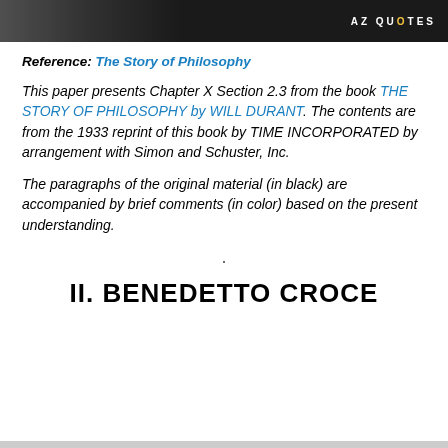[Figure (photo): Header banner: dark/black background with a partial portrait photo on the left and AZQUOTES logo text on the right]
Reference: The Story of Philosophy
This paper presents Chapter X Section 2.3 from the book THE STORY OF PHILOSOPHY by WILL DURANT. The contents are from the 1933 reprint of this book by TIME INCORPORATED by arrangement with Simon and Schuster, Inc.
The paragraphs of the original material (in black) are accompanied by brief comments (in color) based on the present understanding.
.
II. BENEDETTO CROCE